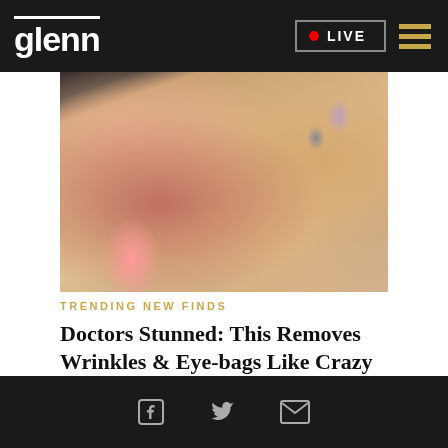glenn  LIVE
[Figure (photo): Close-up photo of a blonde woman touching her face near her ear, with pink nails, wearing earrings, lips slightly parted]
TRENDING NEW FINDS
Doctors Stunned: This Removes Wrinkles & Eye-bags Like Crazy (Try Tonight)
[Figure (photo): Medical illustration or photo showing muscle anatomy, with red and yellow highlighted muscle tissue against a dark background]
Facebook  Twitter  Email